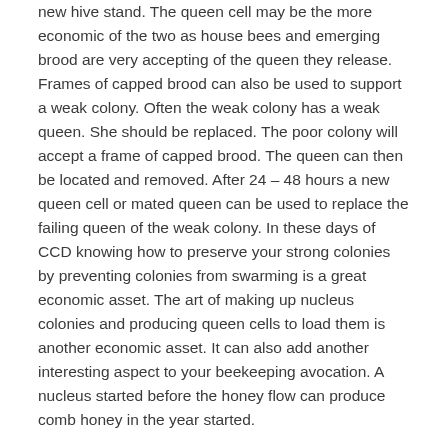new hive stand. The queen cell may be the more economic of the two as house bees and emerging brood are very accepting of the queen they release.
Frames of capped brood can also be used to support a weak colony. Often the weak colony has a weak queen. She should be replaced. The poor colony will accept a frame of capped brood. The queen can then be located and removed. After 24 – 48 hours a new queen cell or mated queen can be used to replace the failing queen of the weak colony. In these days of CCD knowing how to preserve your strong colonies by preventing colonies from swarming is a great economic asset. The art of making up nucleus colonies and producing queen cells to load them is another economic asset. It can also add another interesting aspect to your beekeeping avocation. A nucleus started before the honey flow can produce comb honey in the year started.
If you look on page 273 of the March 2014 American Bee Journal, there is an article by Randy Oliver about producing queens for pennies on a dollar. I suggest you read this article carefully before you follow my suggestions. Randy has written as good a